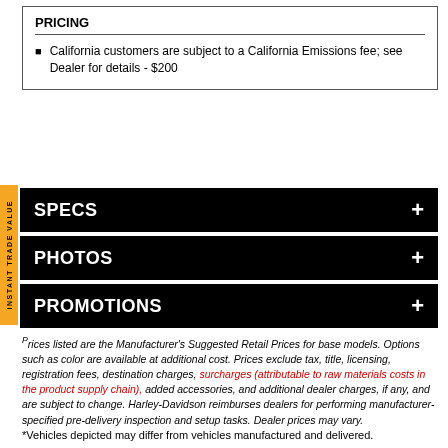PRICING
California customers are subject to a California Emissions fee; see Dealer for details - $200
SPECS +
PHOTOS +
PROMOTIONS +
Prices listed are the Manufacturer's Suggested Retail Prices for base models. Options such as color are available at additional cost. Prices exclude tax, title, licensing, registration fees, destination charges, surcharges (attributable to raw materials costs in the product supply chain), added accessories, and additional dealer charges, if any, and are subject to change. Harley-Davidson reimburses dealers for performing manufacturer-specified pre-delivery inspection and setup tasks. Dealer prices may vary.
*Vehicles depicted may differ from vehicles manufactured and delivered.